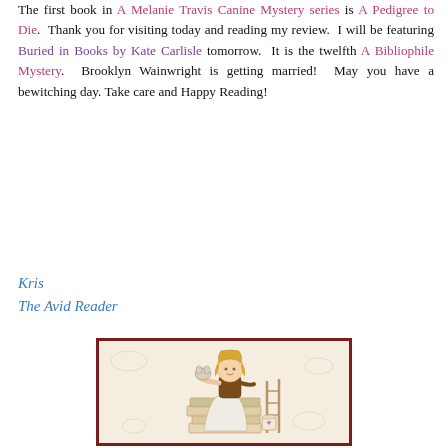The first book in A Melanie Travis Canine Mystery series is A Pedigree to Die. Thank you for visiting today and reading my review. I will be featuring Buried in Books by Kate Carlisle tomorrow. It is the twelfth A Bibliophile Mystery. Brooklyn Wainwright is getting married! May you have a bewitching day. Take care and Happy Reading!
Kris
The Avid Reader
[Figure (illustration): Illustration of a woman with blonde hair sitting atop a stack of books, holding a small animal (cat or rabbit), wearing a long white skirt and brown top, with a mug beside her, framed by a dark red border on a beige patterned background.]